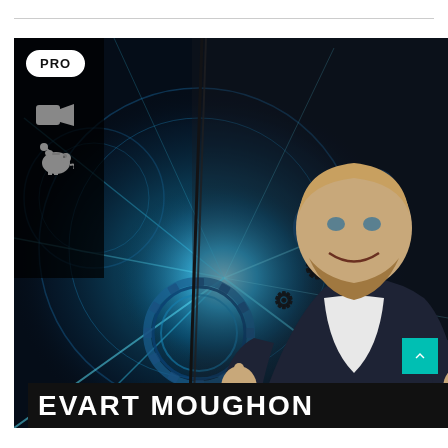[Figure (photo): Profile page screenshot showing a sci-fi gear/mechanical digital artwork on the left panel and a smiling young man with a beard giving two thumbs up on the right panel. A 'PRO' badge is visible in the top-left corner along with video and piggy bank icons. A teal back-to-top button is in the bottom right. The name 'EVART MOUGHON' is displayed in large bold white uppercase text on a black banner at the bottom.]